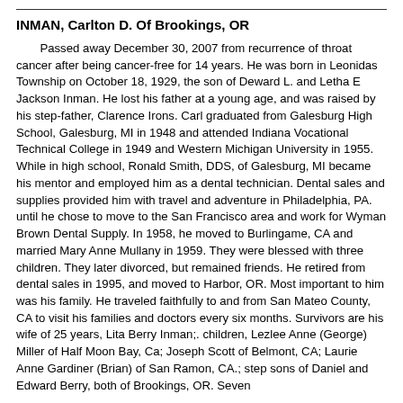INMAN, Carlton D. Of Brookings, OR
Passed away December 30, 2007 from recurrence of throat cancer after being cancer-free for 14 years. He was born in Leonidas Township on October 18, 1929, the son of Deward L. and Letha E Jackson Inman. He lost his father at a young age, and was raised by his step-father, Clarence Irons. Carl graduated from Galesburg High School, Galesburg, MI in 1948 and attended Indiana Vocational Technical College in 1949 and Western Michigan University in 1955. While in high school, Ronald Smith, DDS, of Galesburg, MI became his mentor and employed him as a dental technician. Dental sales and supplies provided him with travel and adventure in Philadelphia, PA. until he chose to move to the San Francisco area and work for Wyman Brown Dental Supply. In 1958, he moved to Burlingame, CA and married Mary Anne Mullany in 1959. They were blessed with three children. They later divorced, but remained friends. He retired from dental sales in 1995, and moved to Harbor, OR. Most important to him was his family. He traveled faithfully to and from San Mateo County, CA to visit his families and doctors every six months. Survivors are his wife of 25 years, Lita Berry Inman;. children, Lezlee Anne (George) Miller of Half Moon Bay, Ca; Joseph Scott of Belmont, CA; Laurie Anne Gardiner (Brian) of San Ramon, CA.; step sons of Daniel and Edward Berry, both of Brookings, OR. Seven